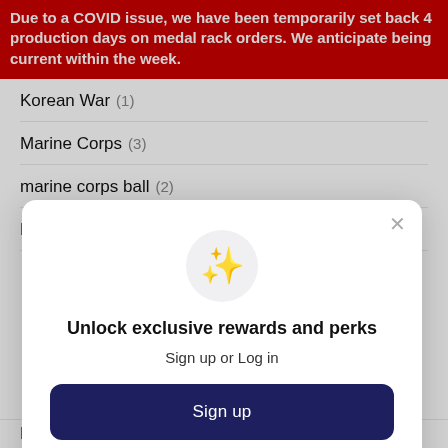Due to a COVID issue, we have been temporarily set back 4 production days on medal rack orders. We anticipate being current within the week.
Korean War (1)
Marine Corps (3)
marine corps ball (2)
Marine Corps birthday (1)
[Figure (screenshot): Modal popup with sparkle icon, title 'Unlock exclusive rewards and perks', subtitle 'Sign up or Log in', a dark navy Sign up button, and text 'Already have an account? Sign in']
Mini (0)